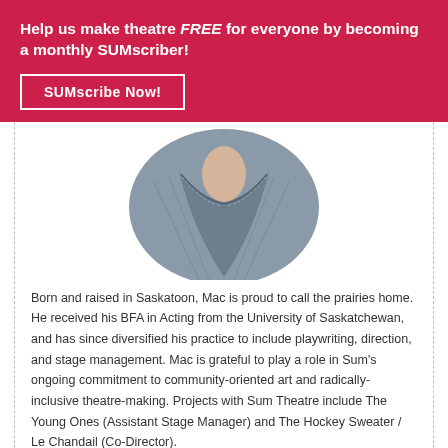Help us make theatre FREE for everyone by becoming a monthly SUMscriber!
SUMscribe Now!
[Figure (photo): Circular-cropped photo showing the neck and denim shirt collar of a person, cropped closely around the collar area.]
Born and raised in Saskatoon, Mac is proud to call the prairies home. He received his BFA in Acting from the University of Saskatchewan, and has since diversified his practice to include playwriting, direction, and stage management. Mac is grateful to play a role in Sum's ongoing commitment to community-oriented art and radically-inclusive theatre-making. Projects with Sum Theatre include The Young Ones (Assistant Stage Manager) and The Hockey Sweater / Le Chandail (Co-Director).